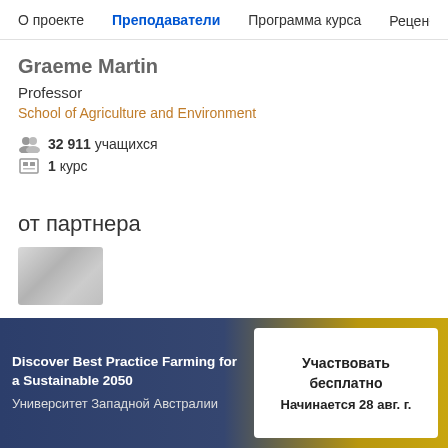О проекте | Преподаватели | Программа курса | Рецензи
Graeme Martin
Professor
School of Agriculture and Environment
32 911 учащихся
1 курс
от партнера
[Figure (photo): Blurred thumbnail image placeholder]
Discover Best Practice Farming for a Sustainable 2050
Университет Западной Австралии
Участвовать бесплатно
Начинается 28 авг. г.